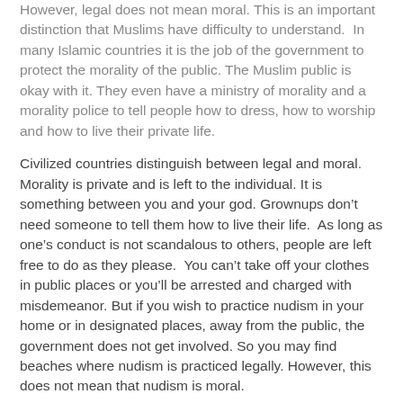However, legal does not mean moral. This is an important distinction that Muslims have difficulty to understand. In many Islamic countries it is the job of the government to protect the morality of the public. The Muslim public is okay with it. They even have a ministry of morality and a morality police to tell people how to dress, how to worship and how to live their private life.
Civilized countries distinguish between legal and moral. Morality is private and is left to the individual. It is something between you and your god. Grownups don't need someone to tell them how to live their life. As long as one's conduct is not scandalous to others, people are left free to do as they please. You can't take off your clothes in public places or you'll be arrested and charged with misdemeanor. But if you wish to practice nudism in your home or in designated places, away from the public, the government does not get involved. So you may find beaches where nudism is practiced legally. However, this does not mean that nudism is moral.
A few years ago, police raided a swinger club in Vancouver Canada and arrested a few dozens of naked men and women. The